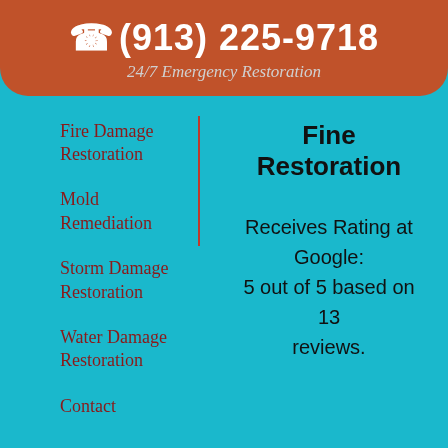(913) 225-9718
24/7 Emergency Restoration
Fire Damage Restoration
Mold Remediation
Storm Damage Restoration
Water Damage Restoration
Contact
Fine Restoration
Receives Rating at Google:
5 out of 5 based on 13 reviews.